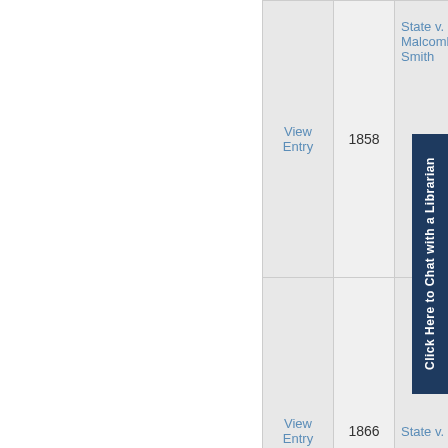| Link | Year | Case Name |
| --- | --- | --- |
| View Entry | 1858 | State v. Malcomb C. Smith |
| View Entry | 1866 | State v. [truncated] |
| View Entry | 1896 | State v. Brandon Layne& Walter Spriggs |